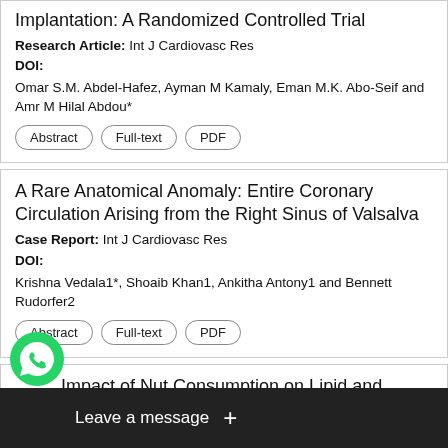Implantation: A Randomized Controlled Trial
Research Article: Int J Cardiovasc Res
DOI:
Omar S.M. Abdel-Hafez, Ayman M Kamaly, Eman M.K. Abo-Seif and Amr M Hilal Abdou*
A Rare Anatomical Anomaly: Entire Coronary Circulation Arising from the Right Sinus of Valsalva
Case Report: Int J Cardiovasc Res
DOI:
Krishna Vedala1*, Shoaib Khan1, Ankitha Antony1 and Bennett Rudorfer2
The Impact of Nut Consumption on Lipid and Lipoprotein Profiles of Patients at High Cardiovascular Risk
Review